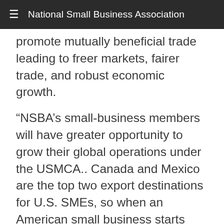National Small Business Association
promote mutually beneficial trade leading to freer markets, fairer trade, and robust economic growth.
“NSBA’s small-business members will have greater opportunity to grow their global operations under the USMCA.. Canada and Mexico are the top two export destinations for U.S. SMEs, so when an American small business starts exporting, it’s almost always to Canada or Mexico.
“For the first time in a U.S. free trade agreement, the USMCA includes a